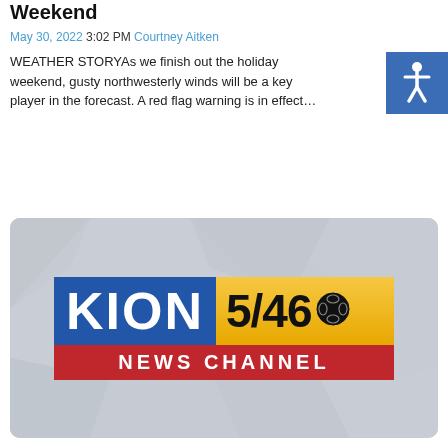Weekend
May 30, 2022 3:02 PM Courtney Aitken
WEATHER STORYAs we finish out the holiday weekend, gusty northwesterly winds will be a key player in the forecast. A red flag warning is in effect…
Continue Reading
[Figure (logo): KION 5/46 News Channel logo on a light gray textured background]